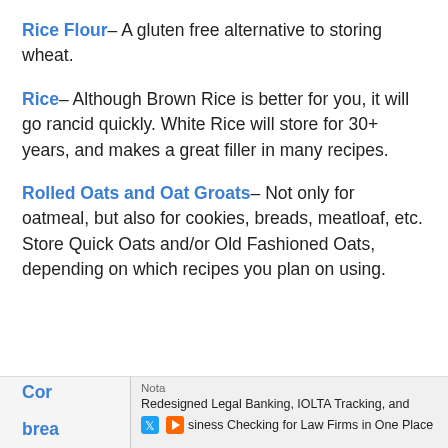Rice Flour– A gluten free alternative to storing wheat.
Rice– Although Brown Rice is better for you, it will go rancid quickly. White Rice will store for 30+ years, and makes a great filler in many recipes.
Rolled Oats and Oat Groats– Not only for oatmeal, but also for cookies, breads, meatloaf, etc. Store Quick Oats and/or Old Fashioned Oats, depending on which recipes you plan on using.
Cor...d, brea...ng.